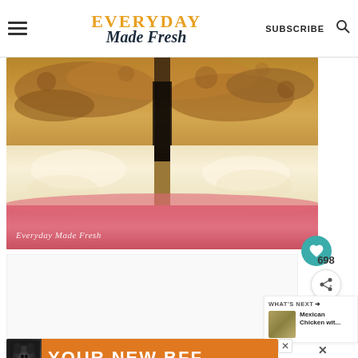Everyday Made Fresh — SUBSCRIBE
[Figure (photo): Close-up photo of a baked biscuit or bread split open showing fluffy white interior and golden brown crust, in a pink or red dish. Watermark reads 'Everyday Made Fresh']
[Figure (photo): What's Next thumbnail: Mexican Chicken wit...]
WHAT'S NEXT → Mexican Chicken wit...
698
[Figure (infographic): Advertisement banner: dog image with 'YOUR NEW BFF' text on orange background]